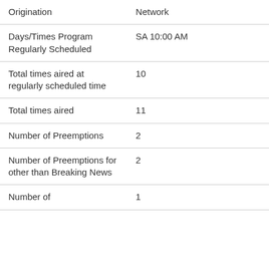| Origination | Network |
| Days/Times Program Regularly Scheduled | SA 10:00 AM |
| Total times aired at regularly scheduled time | 10 |
| Total times aired | 11 |
| Number of Preemptions | 2 |
| Number of Preemptions for other than Breaking News | 2 |
| Number of | 1 |